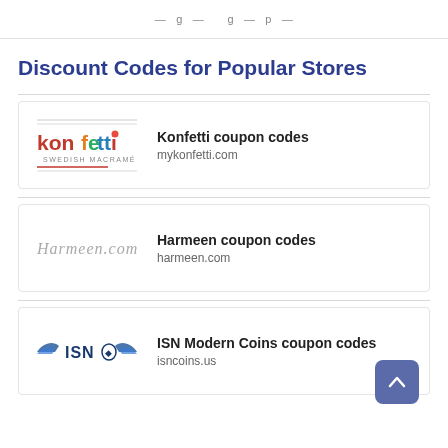Discount Codes for Popular Stores
[Figure (logo): Konfetti Swedish Macramé logo — stylized text in red and multicolor]
Konfetti coupon codes
mykonfetti.com
[Figure (logo): Harmeen.com logo in grey italic script]
Harmeen coupon codes
harmeen.com
[Figure (logo): ISN Modern Coins logo with winged emblem]
ISN Modern Coins coupon codes
isncoins.us